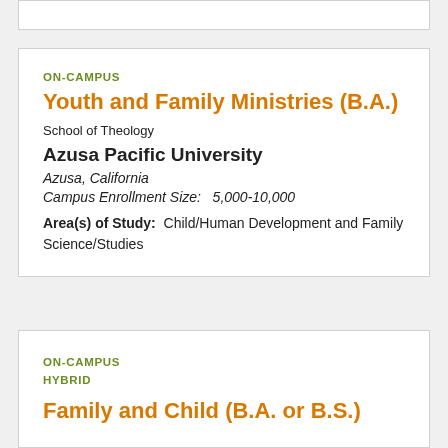ON-CAMPUS
Youth and Family Ministries (B.A.)
School of Theology
Azusa Pacific University
Azusa, California
Campus Enrollment Size:   5,000-10,000
Area(s) of Study:  Child/Human Development and Family Science/Studies
ON-CAMPUS
HYBRID
Family and Child (B.A. or B.S.)